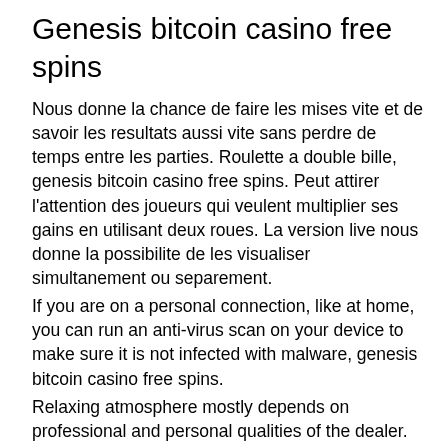Genesis bitcoin casino free spins
Nous donne la chance de faire les mises vite et de savoir les resultats aussi vite sans perdre de temps entre les parties. Roulette a double bille, genesis bitcoin casino free spins. Peut attirer l'attention des joueurs qui veulent multiplier ses gains en utilisant deux roues. La version live nous donne la possibilite de les visualiser simultanement ou separement.
If you are on a personal connection, like at home, you can run an anti-virus scan on your device to make sure it is not infected with malware, genesis bitcoin casino free spins.
Relaxing atmosphere mostly depends on professional and personal qualities of the dealer. Respectable live casinos employ a pretty big number of dealers, which allows